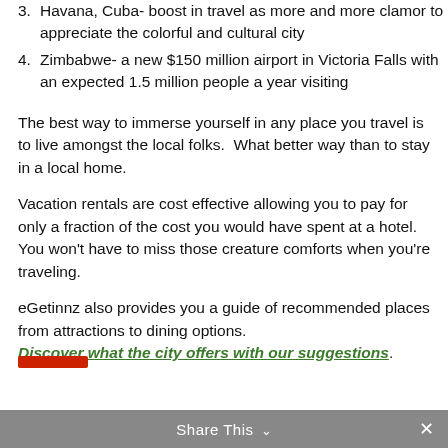3. Havana, Cuba- boost in travel as more and more clamor to appreciate the colorful and cultural city
4. Zimbabwe- a new $150 million airport in Victoria Falls with an expected 1.5 million people a year visiting
The best way to immerse yourself in any place you travel is to live amongst the local folks.  What better way than to stay in a local home.
Vacation rentals are cost effective allowing you to pay for only a fraction of the cost you would have spent at a hotel. You won't have to miss those creature comforts when you're traveling.
eGetinnz also provides you a guide of recommended places from attractions to dining options. Discover what the city offers with our suggestions.
Share This  ×